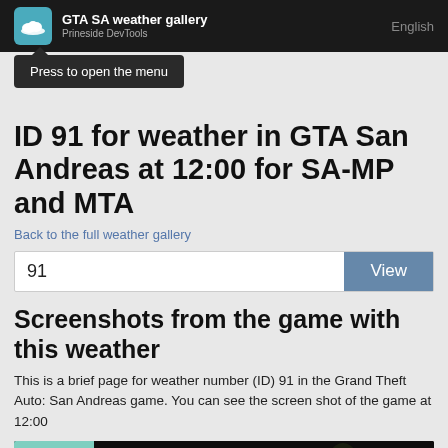GTA SA weather gallery | Prineside DevTools | English
Press to open the menu
ID 91 for weather in GTA San Andreas at 12:00 for SA-MP and MTA
Back to the full weather gallery
91  View
Screenshots from the game with this weather
This is a brief page for weather number (ID) 91 in the Grand Theft Auto: San Andreas game. You can see the screen shot of the game at 12:00
[Figure (screenshot): Screenshot from GTA San Andreas game showing weather ID 91 at 12:00 — dark scene with teal/green area on left and tree silhouette on dark background]